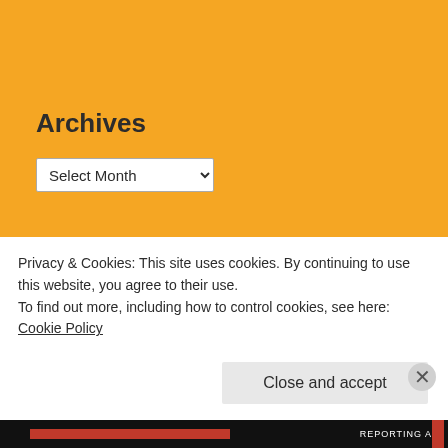Archives
Select Month
August 2021
| M | T | W | T | F | S | S |
| --- | --- | --- | --- | --- | --- | --- |
|  |  |  |  |  |  | 1 |
Privacy & Cookies: This site uses cookies. By continuing to use this website, you agree to their use.
To find out more, including how to control cookies, see here: Cookie Policy
Close and accept